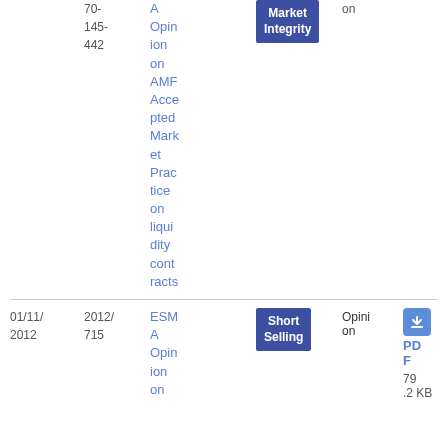| Date | Reference | Title | Tag | Type | File |
| --- | --- | --- | --- | --- | --- |
|  | 70-145-442 | A Opinion on AMF Accepted Market Practice on liquidity contracts | Market Integrity |  | 54
2.91 KB |
| 01/11/2012 | 2012/715 | ESMA Opinion on | Short Selling | Opinion | PDF
79.2 KB |